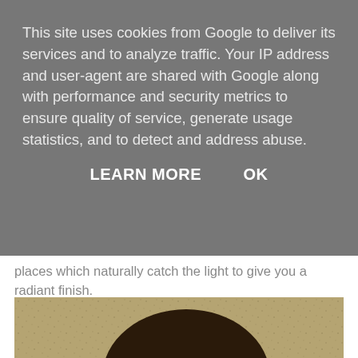This site uses cookies from Google to deliver its services and to analyze traffic. Your IP address and user-agent are shared with Google along with performance and security metrics to ensure quality of service, generate usage statistics, and to detect and address abuse.
LEARN MORE   OK
places which naturally catch the light to give you a radiant finish.
[Figure (photo): Close-up portrait of a young woman with dark brown wavy hair and light skin, wearing subtle makeup including eyeliner and light lip color. Background is a tan/beige wallpaper with small dark speckles. A bright light reflection is visible on the left side.]